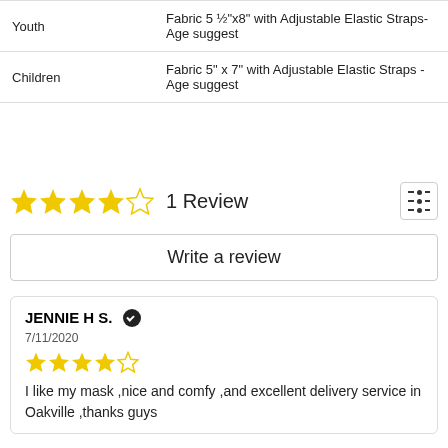| Type | Description |
| --- | --- |
| Youth | Fabric 5 ½”x8” with Adjustable Elastic Straps- Age suggest… |
| Children | Fabric 5” x 7” with Adjustable Elastic Straps - Age suggest… |
★★★★☆ 1 Review
Write a review
JENNIE H S. ✓ 7/11/2020
★★★★☆
I like my mask ,nice and comfy ,and excellent delivery service in Oakville ,thanks guys